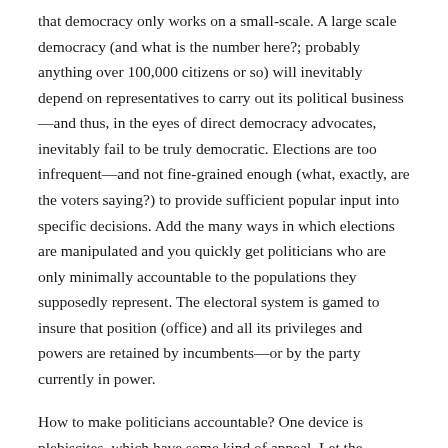that democracy only works on a small-scale.  A large scale democracy (and what is the number here?; probably anything over 100,000 citizens or so) will inevitably depend on representatives to carry out its political business—and thus, in the eyes of direct democracy advocates, inevitably fail to be truly democratic.  Elections are too infrequent—and not fine-grained enough (what, exactly, are the voters saying?) to provide sufficient popular input into specific decisions.  Add the many ways in which elections are manipulated and you quickly get politicians who are only minimally accountable to the populations they supposedly represent.  The electoral system is gamed to insure that position (office) and all its privileges and powers are retained by incumbents—or by the party currently in power.
How to make politicians accountable?  One device is plebiscites, which have some kind of appeal.  Let the